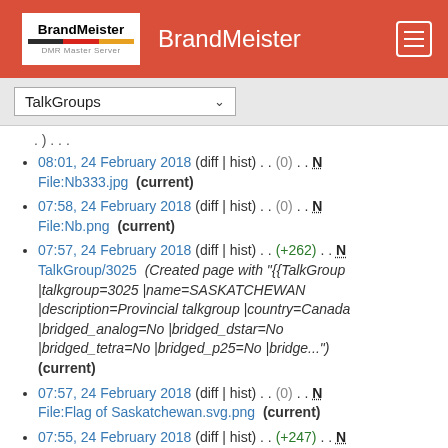BrandMeister
TalkGroups
08:01, 24 February 2018 (diff | hist) . . (0) . . N File:Nb333.jpg (current)
07:58, 24 February 2018 (diff | hist) . . (0) . . N File:Nb.png (current)
07:57, 24 February 2018 (diff | hist) . . (+262) . . N TalkGroup/3025 (Created page with "{{TalkGroup |talkgroup=3025 |name=SASKATCHEWAN |description=Provincial talkgroup |country=Canada |bridged_analog=No |bridged_dstar=No |bridged_tetra=No |bridged_p25=No |bridge...") (current)
07:57, 24 February 2018 (diff | hist) . . (0) . . N File:Flag of Saskatchewan.svg.png (current)
07:55, 24 February 2018 (diff | hist) . . (+247) . . N TalkGroup/3024 (Created page with "{{TalkGroup |talkgroup=3024 |name=MANITOBA |description=Provincial talkgroup |country=Canada...